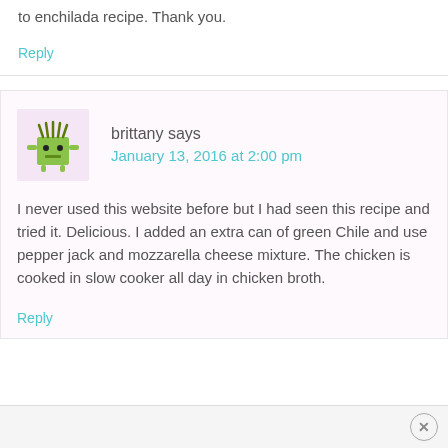to enchilada recipe. Thank you.
Reply
brittany says
January 13, 2016 at 2:00 pm
I never used this website before but I had seen this recipe and tried it. Delicious. I added an extra can of green Chile and use pepper jack and mozzarella cheese mixture. The chicken is cooked in slow cooker all day in chicken broth.
Reply